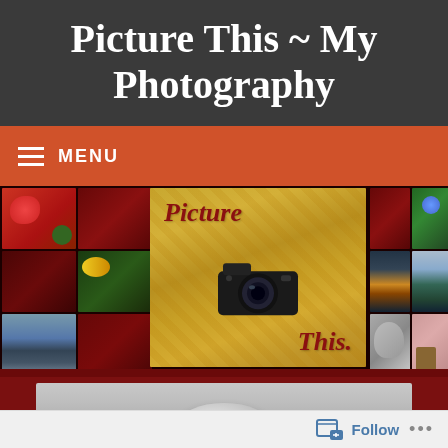Picture This ~ My Photography
[Figure (illustration): Navigation menu bar with hamburger icon and MENU text on orange-red background]
[Figure (photo): Photography blog banner collage showing various nature and landscape photos arranged in a grid, with a central image of a Canon camera on autumn leaves with cursive text 'Picture This']
[Figure (photo): Partial view of a grayscale post image showing what appears to be a stone or rock shape on grey background]
Follow
...